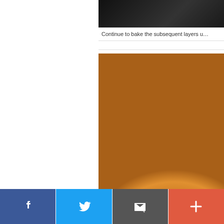[Figure (photo): Top portion of a dark baking pan, cropped at top of page]
Continue to bake the subsequent layers u…
[Figure (photo): Close-up photo of a golden-brown baked cake layer on a light blue-grey background]
[Figure (infographic): Social media sharing bar with Facebook, Twitter, Email, and More buttons]